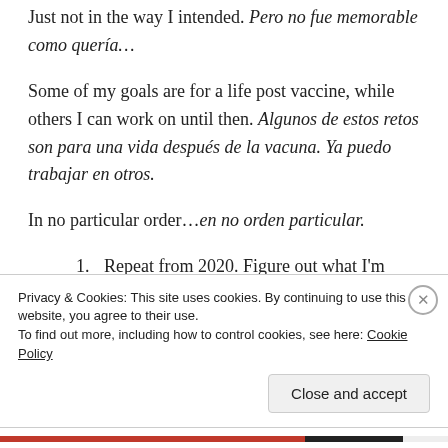Just not in the way I intended. Pero no fue memorable como quería…
Some of my goals are for a life post vaccine, while others I can work on until then. Algunos de estos retos son para una vida después de la vacuna. Ya puedo trabajar en otros.
In no particular order…en no orden particular.
Repeat from 2020. Figure out what I'm going to do with the rest of my life. Grad school? Back to Spain? Teach high school Spanish? Somehow
Privacy & Cookies: This site uses cookies. By continuing to use this website, you agree to their use.
To find out more, including how to control cookies, see here: Cookie Policy
Close and accept